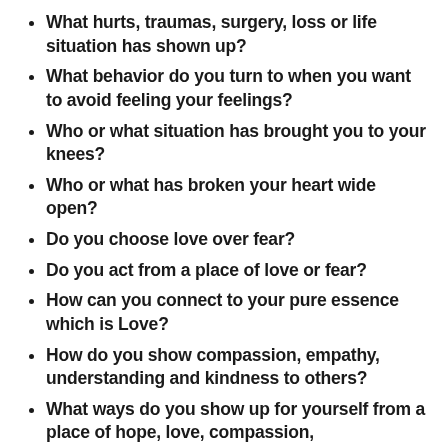What hurts, traumas, surgery, loss or life situation has shown up?
What behavior do you turn to when you want to avoid feeling your feelings?
Who or what situation has brought you to your knees?
Who or what has broken your heart wide open?
Do you choose love over fear?
Do you act from a place of love or fear?
How can you connect to your pure essence which is Love?
How do you show compassion, empathy, understanding and kindness to others?
What ways do you show up for yourself from a place of hope, love, compassion, understanding and empathy?
Who taught you how to love?
How do you contribute to the collective energy of